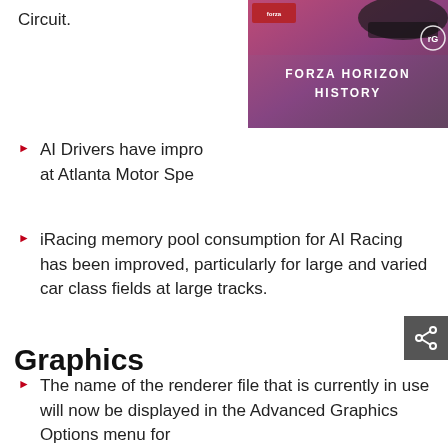Circuit.
[Figure (screenshot): Forza Horizon History promotional thumbnail showing a car on a road with purple/red gradient overlay and text 'FORZA HORIZON HISTORY']
AI Drivers have improved at Atlanta Motor Speedway...
iRacing memory pool consumption for AI Racing has been improved, particularly for large and varied car class fields at large tracks.
Graphics
The name of the renderer file that is currently in use will now be displayed in the Advanced Graphics Options menu for